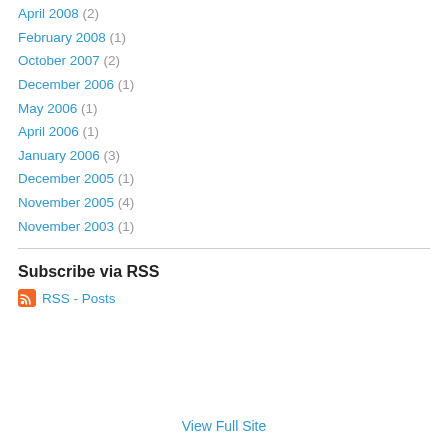April 2008 (2)
February 2008 (1)
October 2007 (2)
December 2006 (1)
May 2006 (1)
April 2006 (1)
January 2006 (3)
December 2005 (1)
November 2005 (4)
November 2003 (1)
Subscribe via RSS
RSS - Posts
View Full Site